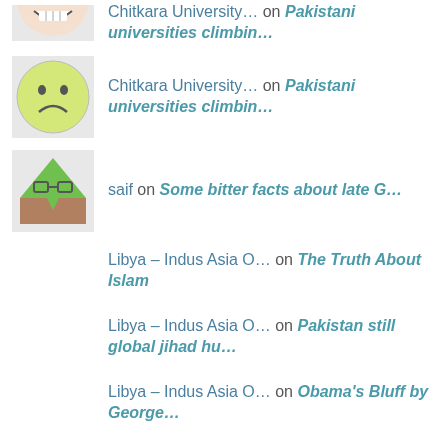Chitkara University... on Pakistani universities climbin...
saif on Some bitter facts about late G...
Libya – Indus Asia O... on The Truth About Islam
Libya – Indus Asia O... on Pakistan still global jihad hu...
Libya – Indus Asia O... on Obama's Bluff by George...
Libya – Indus Asia O... on Having Saved Syria, Putin Now...
wuoivjaffh on Simple arithmetic — Mir Mohamm...
Mohammad Hashim Memo... on Laxman Komal's